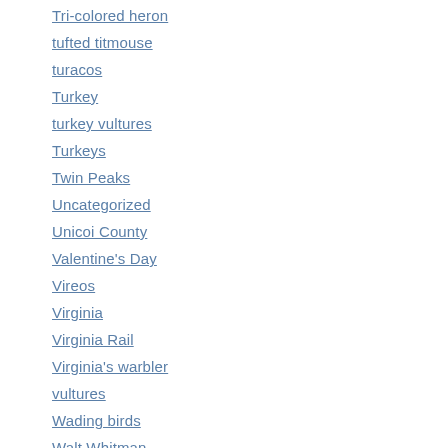Tri-colored heron
tufted titmouse
turacos
Turkey
turkey vultures
Turkeys
Twin Peaks
Uncategorized
Unicoi County
Valentine's Day
Vireos
Virginia
Virginia Rail
Virginia's warbler
vultures
Wading birds
Walt Whitman
Warblers
Waterfowl